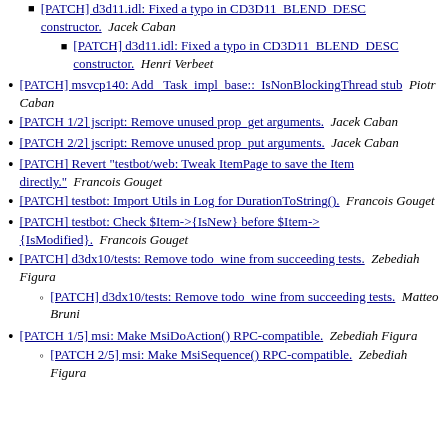[PATCH] d3d11.idl: Fixed a typo in CD3D11_BLEND_DESC constructor.  Jacek Caban (sub-item: [PATCH] d3d11.idl: Fixed a typo in CD3D11_BLEND_DESC constructor. Henri Verbeet)
[PATCH] msvcp140: Add _Task_impl_base::_IsNonBlockingThread stub  Piotr Caban
[PATCH 1/2] jscript: Remove unused prop_get arguments.  Jacek Caban
[PATCH 2/2] jscript: Remove unused prop_put arguments.  Jacek Caban
[PATCH] Revert "testbot/web: Tweak ItemPage to save the Item directly."  Francois Gouget
[PATCH] testbot: Import Utils in Log for DurationToString().  Francois Gouget
[PATCH] testbot: Check $Item->{IsNew} before $Item->{IsModified}.  Francois Gouget
[PATCH] d3dx10/tests: Remove todo_wine from succeeding tests.  Zebediah Figura (sub-item: [PATCH] d3dx10/tests: Remove todo_wine from succeeding tests. Matteo Bruni)
[PATCH 1/5] msi: Make MsiDoAction() RPC-compatible.  Zebediah Figura (sub-item: [PATCH 2/5] msi: Make MsiSequence() RPC-compatible. Zebediah Figura)